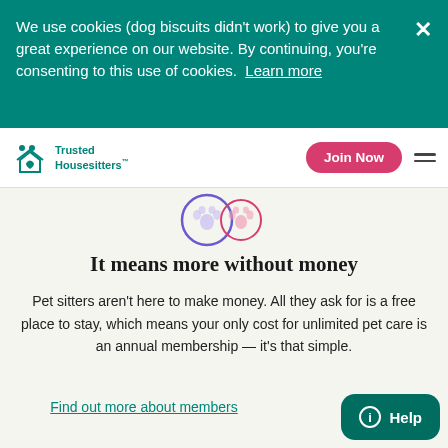We use cookies (dog biscuits didn't work) to give you a great experience on our website. By continuing, you're consenting to this use of cookies. Learn more
Trusted Housesitters™
[Figure (illustration): Two overlapping circular icons with paw prints, one purple/blue and one pink/red]
It means more without money
Pet sitters aren't here to make money. All they ask for is a free place to stay, which means your only cost for unlimited pet care is an annual membership — it's that simple.
Find out more about membership